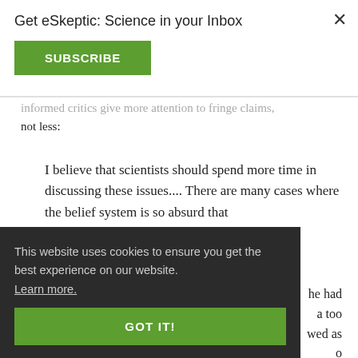Get eSkeptic: Science in your Inbox
SUBSCRIBE
informed critics give more attention to fringe claims, not less:
I believe that scientists should spend more time in discussing these issues.... There are many cases where the belief system is so absurd that scientists discussing it is to the b... commit
he had a too wed as o
This website uses cookies to ensure you get the best experience on our website. Learn more.
GOT IT!